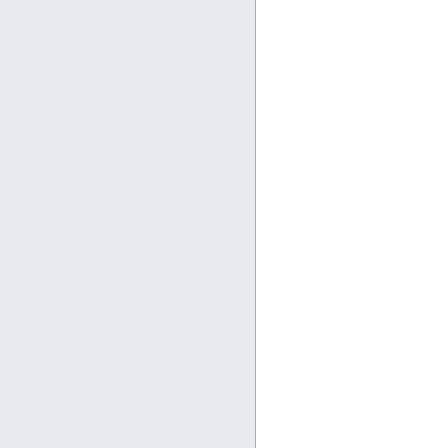ES OBVIO, EN ESTE MARCO QU
[Figure (illustration): Black background panel with large white serif text reading 'En 1 Pedro entre los qu en “Babilon' and large yellow-green serif text reading '“Os salu elegida']